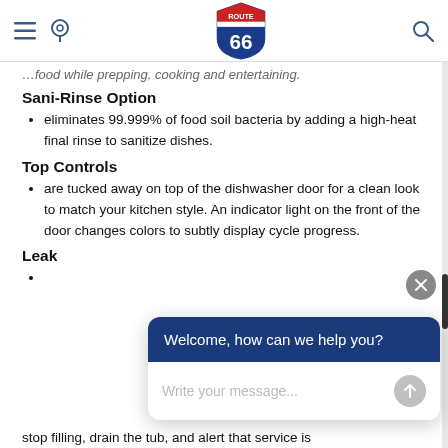Route 66 header with menu, location, logo, and search icons
…food while prepping, cooking and entertaining.
Sani-Rinse Option
eliminates 99.999% of food soil bacteria by adding a high-heat final rinse to sanitize dishes.
Top Controls
are tucked away on top of the dishwasher door for a clean look to match your kitchen style. An indicator light on the front of the door changes colors to subtly display cycle progress.
Leak…
[Figure (screenshot): Chat widget overlay with dark blue header saying 'Welcome, how can we help you?' and a text input area with placeholder 'Write your message...' and a send button]
stop filling, drain the tub, and alert that service is